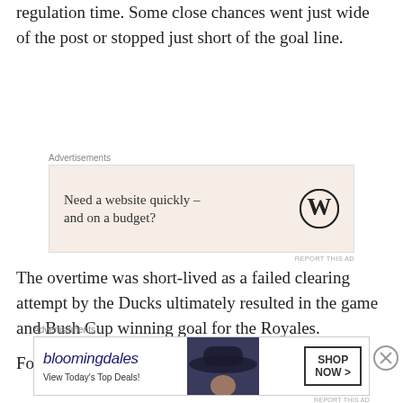the Ducks managed just a tie through regulation time. Some close chances went just wide of the post or stopped just short of the goal line.
[Figure (other): Advertisement box with WordPress logo. Text: 'Need a website quickly – and on a budget?']
The overtime was short-lived as a failed clearing attempt by the Ducks ultimately resulted in the game and Bush Cup winning goal for the Royales.
For a second straight season, the Ducks
[Figure (other): Bloomingdale's advertisement banner: 'View Today's Top Deals!' with 'SHOP NOW >' button and image of woman in hat.]